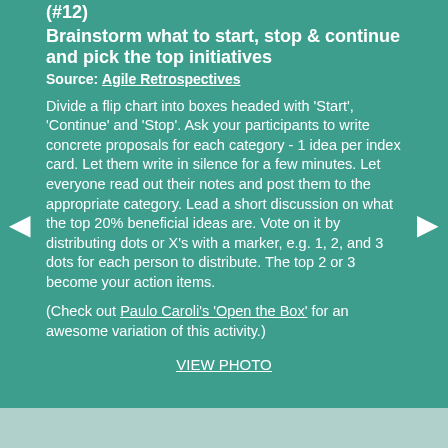(#12) Brainstorm what to start, stop & continue and pick the top initiatives
Source: Agile Retrospectives
Divide a flip chart into boxes headed with 'Start', 'Continue' and 'Stop'. Ask your participants to write concrete proposals for each category - 1 idea per index card. Let them write in silence for a few minutes. Let everyone read out their notes and post them to the appropriate category. Lead a short discussion on what the top 20% beneficial ideas are. Vote on it by distributing dots or X's with a marker, e.g. 1, 2, and 3 dots for each person to distribute. The top 2 or 3 become your action items.
(Check out Paulo Caroli's 'Open the Box' for an awesome variation of this activity.)
VIEW PHOTO